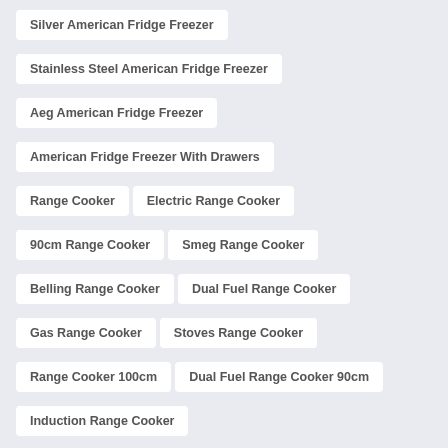Silver American Fridge Freezer
Stainless Steel American Fridge Freezer
Aeg American Fridge Freezer
American Fridge Freezer With Drawers
Range Cooker
Electric Range Cooker
90cm Range Cooker
Smeg Range Cooker
Belling Range Cooker
Dual Fuel Range Cooker
Gas Range Cooker
Stoves Range Cooker
Range Cooker 100cm
Dual Fuel Range Cooker 90cm
Induction Range Cooker